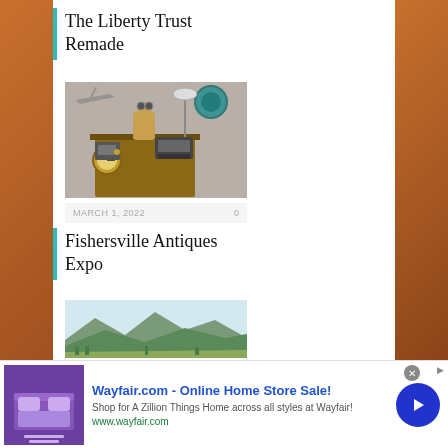The Liberty Trust Remade
[Figure (illustration): Steampunk/vintage scene with wooden figure, typewriter, clock, binoculars, airplane model on shelves against a textured wall]
MARCH 1, 2022   0
Fishersville Antiques Expo
[Figure (photo): Landscape photo showing green rolling hills with mountains in the background under a clear sky]
[Figure (other): Wayfair.com advertisement banner: 'Wayfair.com - Online Home Store Sale! Shop for A Zillion Things Home across all styles at Wayfair! www.wayfair.com' with purple bedroom furniture thumbnail and blue arrow button]